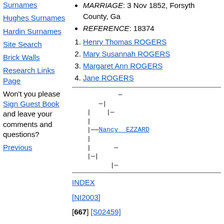MARRIAGE: 3 Nov 1852, Forsyth County, Ga
REFERENCE: 18374
Henry Thomas ROGERS
Mary Susannah ROGERS
Margaret Ann ROGERS
Jane ROGERS
[Figure (other): Genealogical pedigree/ahnentafel tree diagram in ASCII/monospace showing ancestry lines with Nancy EZZARD linked]
INDEX
[NI2003]
[667] [S02459]
Previous